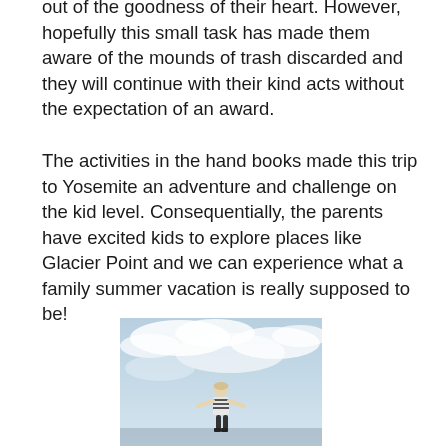out of the goodness of their heart. However, hopefully this small task has made them aware of the mounds of trash discarded and they will continue with their kind acts without the expectation of an award.
The activities in the hand books made this trip to Yosemite an adventure and challenge on the kid level. Consequentially, the parents have excited kids to explore places like Glacier Point and we can experience what a family summer vacation is really supposed to be!
[Figure (photo): A child standing outdoors against a blue cloudy sky, arms slightly outstretched, wearing a striped shirt.]